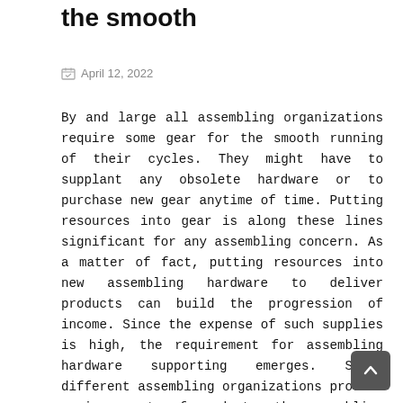the smooth
April 12, 2022
By and large all assembling organizations require some gear for the smooth running of their cycles. They might have to supplant any obsolete hardware or to purchase new gear anytime of time. Putting resources into gear is along these lines significant for any assembling concern. As a matter of fact, putting resources into new assembling hardware to deliver products can build the progression of income. Since the expense of such supplies is high, the requirement for assembling hardware supporting emerges. Since different assembling organizations produce various sorts of products, the assembling gear supporting choices would change likewise. You can look monetary assistance of any of the solid funding